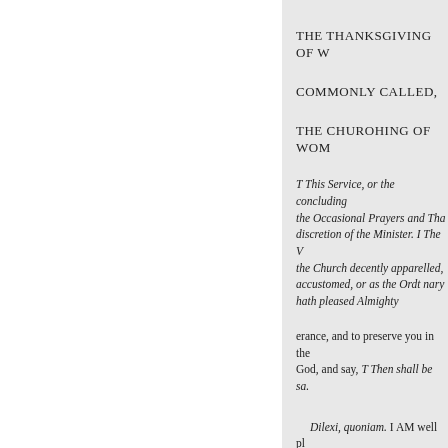THE THANKSGIVING OF W
COMMONLY CALLED,
THE CHUROHING OF WOM
T This Service, or the concluding the Occasional Prayers and Tha discretion of the Minister. I The W the Church decently apparelled, accustomed, or as the Ordt nary hath pleased Almighty
erance, and to preserve you in the God, and say, T Then shall be sa.
Dilexi, quoniam. I AM well pl the voice of my prayer; That he b live.